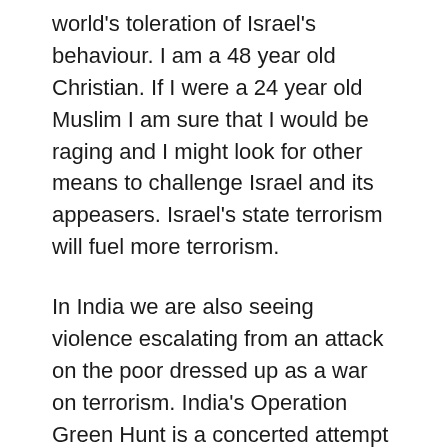world's toleration of Israel's behaviour. I am a 48 year old Christian. If I were a 24 year old Muslim I am sure that I would be raging and I might look for other means to challenge Israel and its appeasers. Israel's state terrorism will fuel more terrorism.
In India we are also seeing violence escalating from an attack on the poor dressed up as a war on terrorism. India's Operation Green Hunt is a concerted attempt to destroy “Naxalites” (Maoist insurgents), especially in the central-eastern forests of Chhattisgarrh, Jarkhand, Orissa and West Bengal. Little reported in the UK media, the death toll of state military and paramilitary,